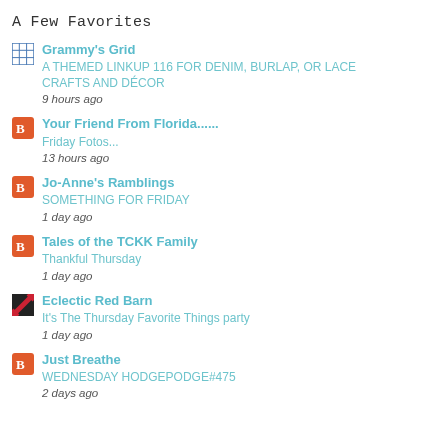A Few Favorites
Grammy's Grid
A THEMED LINKUP 116 FOR DENIM, BURLAP, OR LACE CRAFTS AND DÉCOR
9 hours ago
Your Friend From Florida......
Friday Fotos...
13 hours ago
Jo-Anne's Ramblings
SOMETHING FOR FRIDAY
1 day ago
Tales of the TCKK Family
Thankful Thursday
1 day ago
Eclectic Red Barn
It's The Thursday Favorite Things party
1 day ago
Just Breathe
WEDNESDAY HODGEPODGE#475
2 days ago